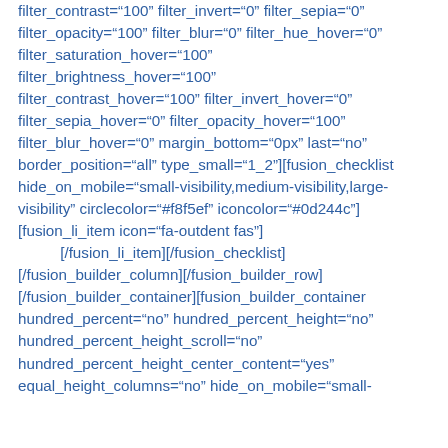filter_contrast="100" filter_invert="0" filter_sepia="0" filter_opacity="100" filter_blur="0" filter_hue_hover="0" filter_saturation_hover="100" filter_brightness_hover="100" filter_contrast_hover="100" filter_invert_hover="0" filter_sepia_hover="0" filter_opacity_hover="100" filter_blur_hover="0" margin_bottom="0px" last="no" border_position="all" type_small="1_2"][fusion_checklist hide_on_mobile="small-visibility,medium-visibility,large-visibility" circlecolor="#f8f5ef" iconcolor="#0d244c"] [fusion_li_item icon="fa-outdent fas"]           [/fusion_li_item][/fusion_checklist] [/fusion_builder_column][/fusion_builder_row] [/fusion_builder_container][fusion_builder_container hundred_percent="no" hundred_percent_height="no" hundred_percent_height_scroll="no" hundred_percent_height_center_content="yes" equal_height_columns="no" hide_on_mobile="small-